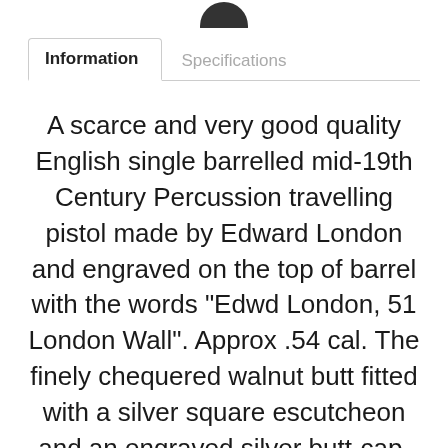[Figure (other): Partial circular icon/logo at top center, only bottom portion visible]
Information	Specifications
A scarce and very good quality English single barrelled mid-19th Century Percussion travelling pistol made by Edward London and engraved on the top of barrel with the words "Edwd London, 51 London Wall". Approx .54 cal. The finely chequered walnut butt fitted with a silver square escutcheon and an engraved silver butt-cap. Heavy octagonal barrel fitted with a swivel